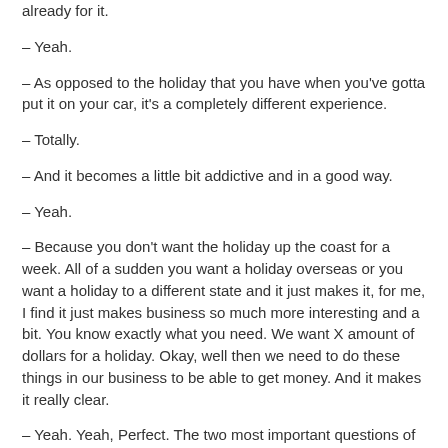already for it.
– Yeah.
– As opposed to the holiday that you have when you've gotta put it on your car, it's a completely different experience.
– Totally.
– And it becomes a little bit addictive and in a good way.
– Yeah.
– Because you don't want the holiday up the coast for a week. All of a sudden you want a holiday overseas or you want a holiday to a different state and it just makes it, for me, I find it just makes business so much more interesting and a bit. You know exactly what you need. We want X amount of dollars for a holiday. Okay, well then we need to do these things in our business to be able to get money. And it makes it really clear.
– Yeah. Yeah, Perfect. The two most important questions of this whole conversation is where do we go to get the book